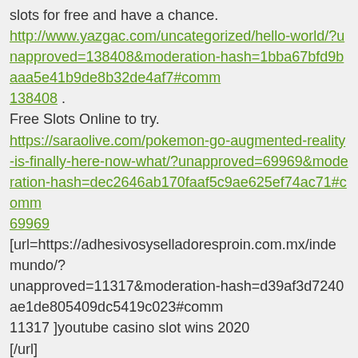slots for free and have a chance.
http://www.yazgac.com/uncategorized/hello-world/?unapproved=138408&moderation-hash=1bba67bfd9baaa5e41b9de8b32de4af7#comment-138408 .
Free Slots Online to try.
https://saraolive.com/pokemon-go-augmented-reality-is-finally-here-now-what/?unapproved=69969&moderation-hash=dec2646ab170faaf5c9ae625ef74ac71#comment-69969
[url=https://adhesivosyselladoresproin.com.mx/index/mundo/?unapproved=11317&moderation-hash=d39af3d7240ae1de805409dc5419c023#comment-11317 ]youtube casino slot wins 2020
[/url]
[url=http://www.sweetcustomprints.com/product/flyin